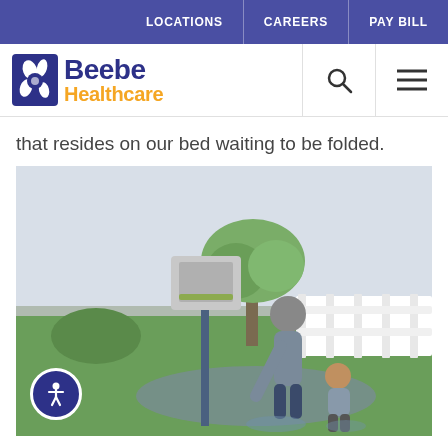LOCATIONS | CAREERS | PAY BILL
[Figure (logo): Beebe Healthcare logo with blue and gold text and hand/leaf icon]
that resides on our bed waiting to be folded.
[Figure (photo): A parent and young child playing outside near a basketball hoop on a wet pavement surface, surrounded by green lawn and a white fence, on an overcast day.]